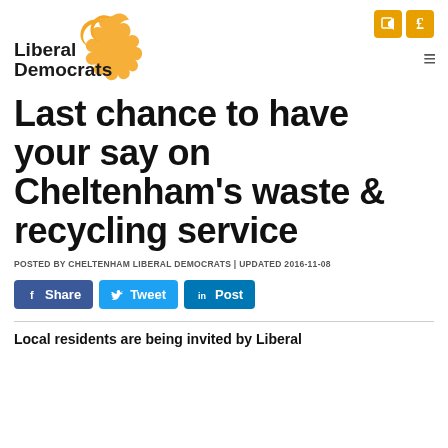[Figure (logo): Liberal Democrats logo with bird/flame motif and text 'Liberal Democrats']
Last chance to have your say on Cheltenham's waste & recycling service
POSTED BY CHELTENHAM LIBERAL DEMOCRATS | UPDATED 2016-11-08
[Figure (infographic): Social sharing buttons: Facebook Share, Twitter Tweet, LinkedIn Post]
Local residents are being invited by Liberal